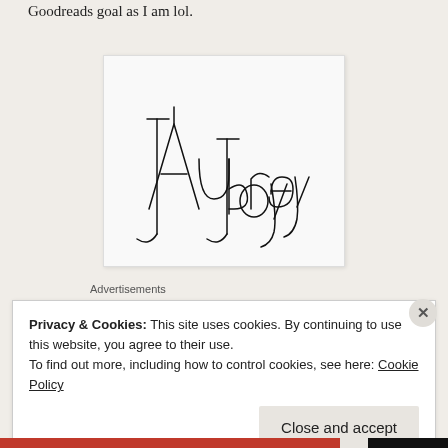Goodreads goal as I am lol.
[Figure (illustration): Handwritten signature reading 'Aubrey Joy' in cursive/script style on a light grey background with a thin border.]
Advertisements
Privacy & Cookies: This site uses cookies. By continuing to use this website, you agree to their use.
To find out more, including how to control cookies, see here: Cookie Policy
Close and accept